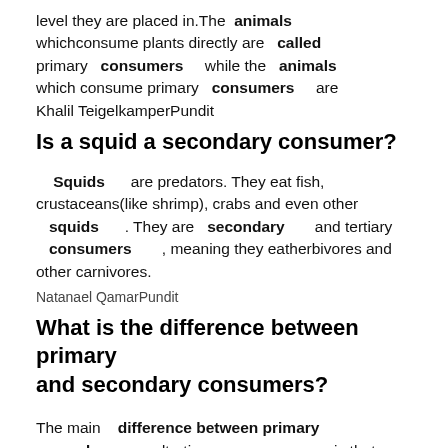level they are placed in. The animals which consume plants directly are called primary consumers while the animals which consume primary consumers are Khalil TeigelkamperPundit
Is a squid a secondary consumer?
Squids are predators. They eat fish, crustaceans(like shrimp), crabs and even other squids . They are secondary and tertiary consumers , meaning they eat herbivores and other carnivores.
Natanael QamarPundit
What is the difference between primary and secondary consumers?
The main difference between primary secondary andtertiary consumers is that